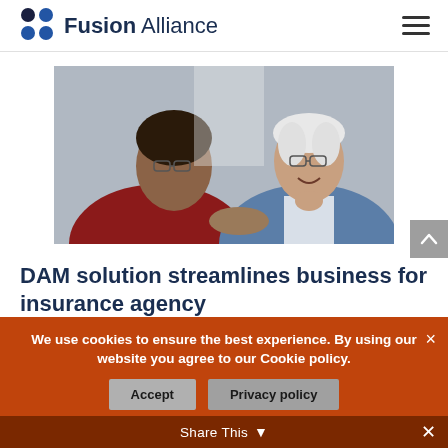Fusion Alliance
[Figure (photo): Two people shaking hands in an office setting — a younger man with dark hair and glasses in a red sweater, and an older woman with short white hair and glasses in a blue cardigan, smiling]
DAM solution streamlines business for insurance agency
We use cookies to ensure the best experience. By using our website you agree to our Cookie policy.
Accept   Privacy policy
Share This